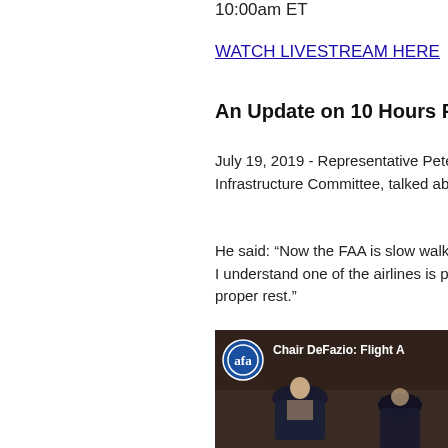10:00am ET
WATCH LIVESTREAM HERE
An Update on 10 Hours Fro...
July 19, 2019 - Representative Pete... Infrastructure Committee, talked ab...
He said: “Now the FAA is slow walk... I understand one of the airlines is p... proper rest.”
[Figure (screenshot): Video thumbnail showing Chair DeFazio: Flight A... with AFA logo and a person in a dark suit seated at a hearing table]